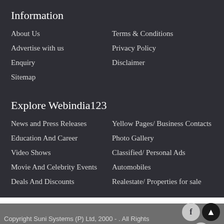Information
About Us
Terms & Conditions
Advertise with us
Privacy Policy
Enquiry
Disclaimer
Sitemap
Explore Webindia123
News and Press Releases
Yellow Pages/ Business Contacts
Education And Career
Photo Gallery
Video Shows
Classified/ Personal Ads
Movie And Celebrity Events
Automobiles
Deals And Discounts
Realestate/ Properties for sale
Copyright Suni Systems (P) Ltd, 2000 - . All Rights Reserved